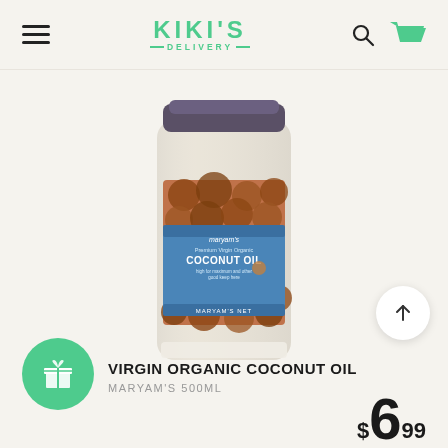KIKI'S DELIVERY
[Figure (photo): Glass jar of Maryam's Premium Virgin Organic Coconut Oil 500ml with blue label showing coconut imagery, dark lid, white solid coconut oil inside]
VIRGIN ORGANIC COCONUT OIL
MARYAM'S 500ML
$6.99